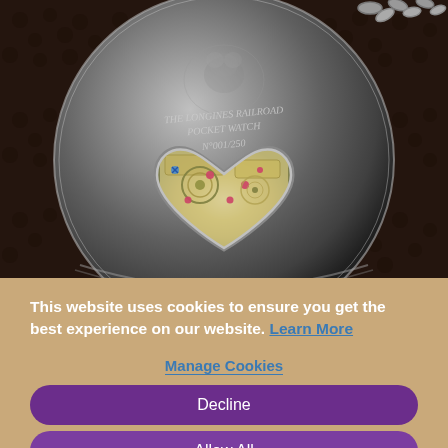[Figure (photo): Close-up photograph of the back of a Longines Railroad Pocket Watch No. 001/250, a silver/gunmetal colored pocket watch with a heart-shaped exhibition caseback showing the movement, engraved text, and a chain visible at top. Watch rests on dark brown leather-textured surface.]
This website uses cookies to ensure you get the best experience on our website. Learn More
Manage Cookies
Decline
Allow All